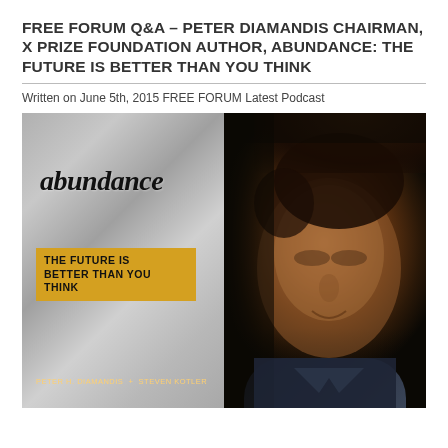FREE FORUM Q&A – PETER DIAMANDIS CHAIRMAN, X PRIZE FOUNDATION AUTHOR, ABUNDANCE: THE FUTURE IS BETTER THAN YOU THINK
Written on June 5th, 2015 FREE FORUM Latest Podcast
[Figure (photo): Two-panel image: left panel shows the book cover of 'Abundance: The Future Is Better Than You Think' by Peter H. Diamandis and Steven Kotler, with the title in script on a crumpled foil background and a yellow subtitle band; right panel shows a close-up portrait of Peter Diamandis, a man with dark hair, smiling slightly, against a dark background, wearing a dark suit.]